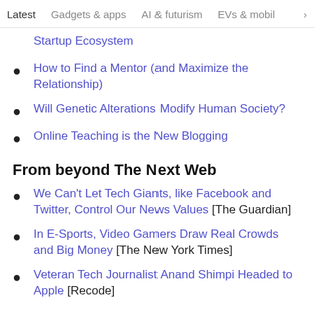Latest | Gadgets & apps | AI & futurism | EVs & mobil
Startup Ecosystem
How to Find a Mentor (and Maximize the Relationship)
Will Genetic Alterations Modify Human Society?
Online Teaching is the New Blogging
From beyond The Next Web
We Can't Let Tech Giants, like Facebook and Twitter, Control Our News Values [The Guardian]
In E-Sports, Video Gamers Draw Real Crowds and Big Money [The New York Times]
Veteran Tech Journalist Anand Shimpi Headed to Apple [Recode]